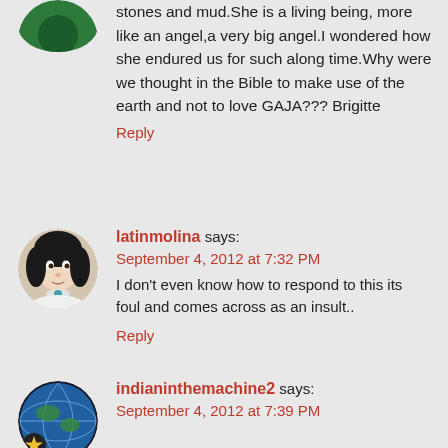stones and mud.She is a living being, more like an angel,a very big angel.I wondered how she endured us for such along time.Why were we thought in the Bible to make use of the earth and not to love GAJA??? Brigitte
Reply
latinmolina says:
September 4, 2012 at 7:32 PM
I don't even know how to respond to this its foul and comes across as an insult..
Reply
indianinthemachine2 says:
September 4, 2012 at 7:39 PM